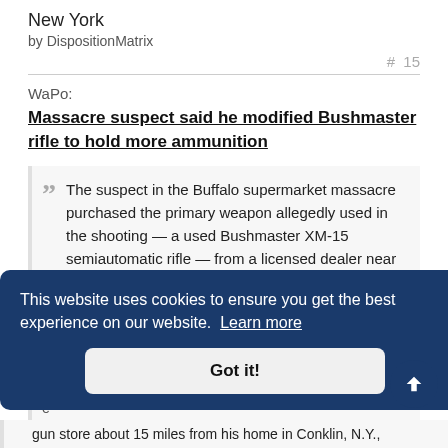New York
by DispositionMatrix
# 15
WaPo:
Massacre suspect said he modified Bushmaster rifle to hold more ammunition
The suspect in the Buffalo supermarket massacre purchased the primary weapon allegedly used in the shooting — a used Bushmaster XM-15 semiautomatic rifle — from a licensed dealer near his hometown but said he then illegally modified the gun so he could use
gun store about 15 miles from his home in Conklin, N.Y.,
This website uses cookies to ensure you get the best experience on our website. Learn more
Got it!